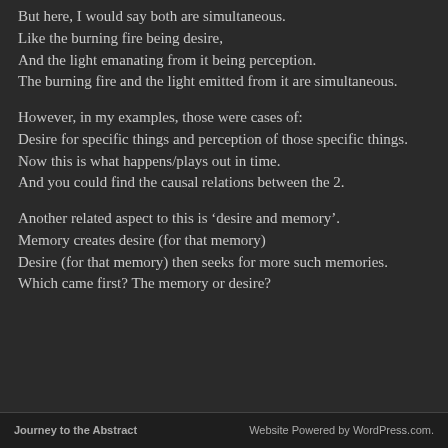But here, I would say both are simultaneous.
Like the burning fire being desire,
And the light emanating from it being perception.
The burning fire and the light emitted from it are simultaneous.
However, in my examples, those were cases of:
Desire for specific things and perception of those specific things.
Now this is what happens/plays out in time.
And you could find the causal relations between the 2.
Another related aspect to this is ‘desire and memory’.
Memory creates desire (for that memory)
Desire (for that memory) then seeks for more such memories.
Which came first? The memory or desire?
Journey to the Abstract                    Website Powered by WordPress.com.